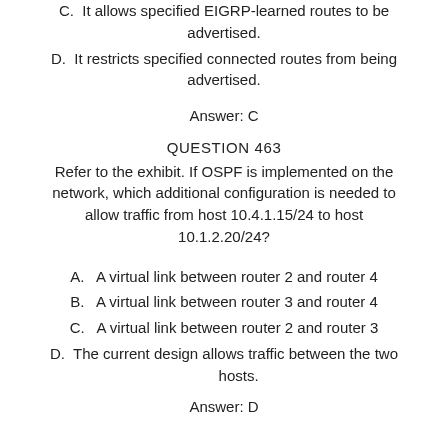C. It allows specified EIGRP-learned routes to be advertised.
D. It restricts specified connected routes from being advertised.
Answer: C
QUESTION 463
Refer to the exhibit. If OSPF is implemented on the network, which additional configuration is needed to allow traffic from host 10.4.1.15/24 to host 10.1.2.20/24?
A. A virtual link between router 2 and router 4
B. A virtual link between router 3 and router 4
C. A virtual link between router 2 and router 3
D. The current design allows traffic between the two hosts.
Answer: D